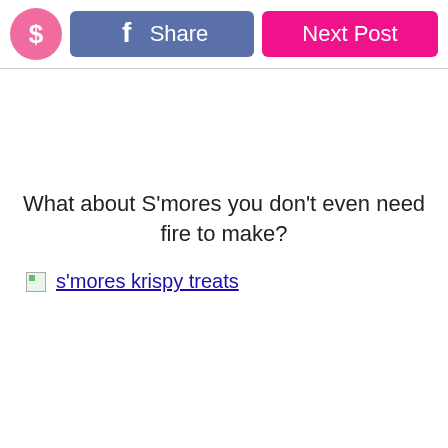[Figure (other): Page header with a pink dollar sign circle button, a Facebook Share button (blue), and a hot pink Next Post button]
What about S'mores you don't even need fire to make?
[Figure (other): Broken image placeholder followed by underlined link text: s'mores krispy treats]